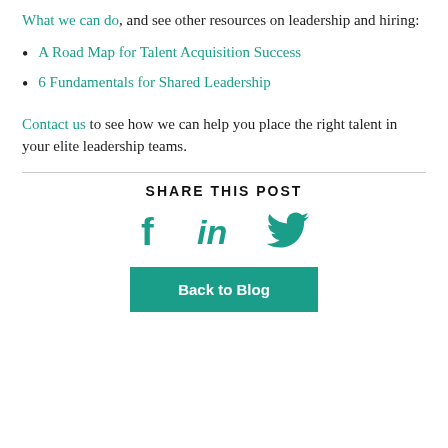What we can do, and see other resources on leadership and hiring:
A Road Map for Talent Acquisition Success
6 Fundamentals for Shared Leadership
Contact us to see how we can help you place the right talent in your elite leadership teams.
SHARE THIS POST
[Figure (infographic): Social media share icons: Facebook, LinkedIn, Twitter in teal color]
Back to Blog